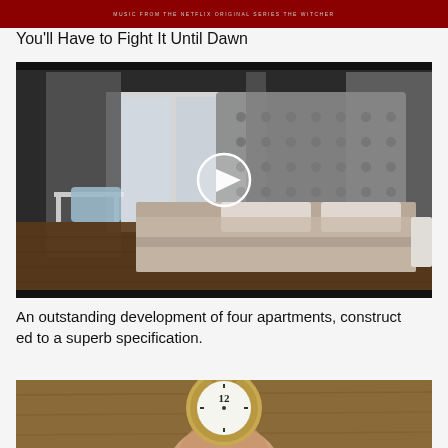[Figure (photo): Dark red/maroon banner image with text 'MUSIC FROM THE NETFLIX ORIGINAL SERIES THE WITCHER' in small caps]
You'll Have to Fight It Until Dawn
[Figure (photo): Video thumbnail of a luxury bedroom with a large quilted headboard bed, grey curtains, wooden floors, and a play button overlay in the center]
An outstanding development of four apartments, constructed to a superb specification.
[Figure (photo): Close-up photo of a hand holding a gold wristwatch showing the number 12 on its white dial]